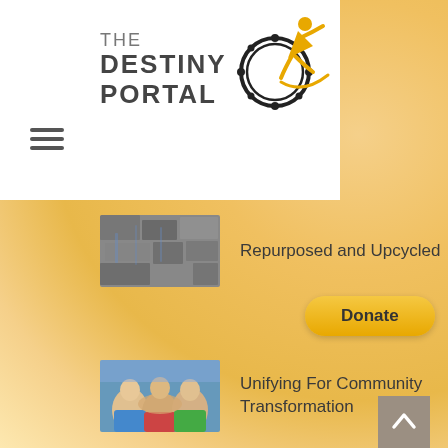[Figure (logo): The Destiny Portal logo with gear/wheel icon and running figure silhouette in orange/yellow]
[Figure (other): Hamburger menu icon (three horizontal lines)]
[Figure (other): Yellow Donate button]
Repurposed and Upcycled
Unifying For Community Transformation
TDP TRAINING OUTLINE